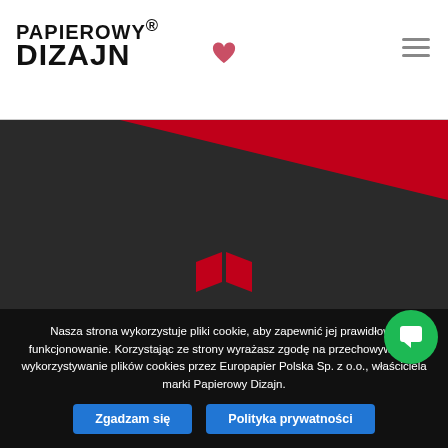[Figure (logo): Papierowy Dizajn logo — bold black uppercase text on white background]
[Figure (photo): Close-up photo of dark textured paper/cardstock with red diagonal stripe and a small red diamond/rhombus logo mark]
Nasza strona wykorzystuje pliki cookie, aby zapewnić jej prawidłowe funkcjonowanie. Korzystając ze strony wyrażasz zgodę na przechowywanie i wykorzystywanie plików cookies przez Europapier Polska Sp. z o.o., właściciela marki Papierowy Dizajn.
Zgadzam się
Polityka prywatności